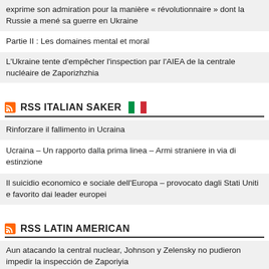exprime son admiration pour la manière « révolutionnaire » dont la Russie a mené sa guerre en Ukraine
Partie II : Les domaines mental et moral
L'Ukraine tente d'empêcher l'inspection par l'AIEA de la centrale nucléaire de Zaporizhzhia
RSS ITALIAN SAKER
Rinforzare il fallimento in Ucraina
Ucraina – Un rapporto dalla prima linea – Armi straniere in via di estinzione
Il suicidio economico e sociale dell'Europa – provocato dagli Stati Uniti e favorito dai leader europei
RSS LATIN AMERICAN
Aun atacando la central nuclear, Johnson y Zelensky no pudieron impedir la inspección de Zaporiyia